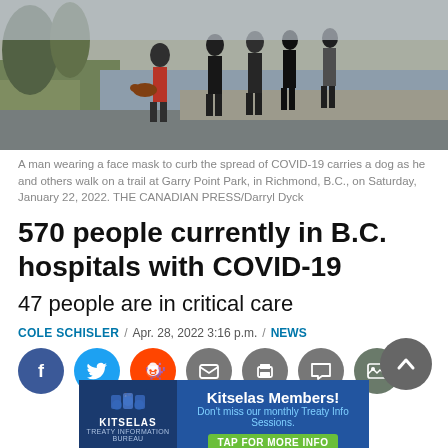[Figure (photo): People walking on a trail at Garry Point Park, Richmond, B.C. A man wearing a face mask carries a dog while others walk behind him on a paved path with grass and water in the background.]
A man wearing a face mask to curb the spread of COVID-19 carries a dog as he and others walk on a trail at Garry Point Park, in Richmond, B.C., on Saturday, January 22, 2022. THE CANADIAN PRESS/Darryl Dyck
570 people currently in B.C. hospitals with COVID-19
47 people are in critical care
COLE SCHISLER / Apr. 28, 2022 3:16 p.m. / NEWS
[Figure (infographic): Social media sharing buttons: Facebook (blue), Twitter (light blue), Reddit (orange), Email (grey), Print (grey), Comment (grey), Gallery (dark grey). A scroll-to-top button (dark grey circle with chevron).]
[Figure (infographic): Advertisement banner for Kitselas Treaty Information Bureau. Dark blue background with Kitselas logo on left. Text: Kitselas Members! Don't miss our monthly Treaty Info Sessions. TAP FOR MORE INFO button.]